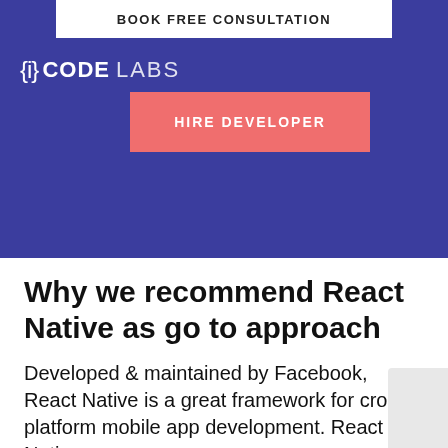BOOK FREE CONSULTATION
[Figure (logo): {i} CODE LABS logo in white on dark blue background]
HIRE DEVELOPER
Why we recommend React Native as go to approach
Developed & maintained by Facebook, React Native is a great framework for cross platform mobile app development. React Native